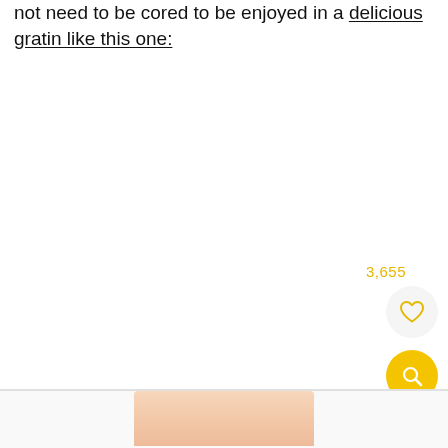not need to be cored to be enjoyed in a delicious gratin like this one:
3,655
[Figure (infographic): Heart/favorite button with count 3,655 and yellow search button]
[Figure (photo): Partial thumbnail of food image at bottom of page]